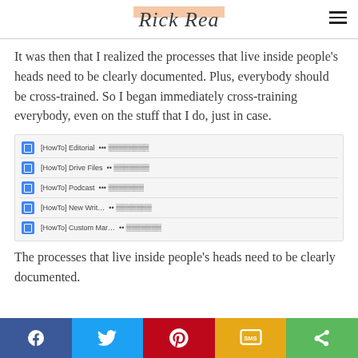Rick Rea
It was then that I realized the processes that live inside people's heads need to be clearly documented. Plus, everybody should be cross-trained. So I began immediately cross-training everybody, even on the stuff that I do, just in case.
[Figure (screenshot): Screenshot of Google Drive folder showing [HowTo] documents: [HowTo] Editorial, [HowTo] Drive Files, [HowTo] Podcast, [HowTo] New Writing, [HowTo] Custom Marketing]
The processes that live inside people's heads need to be clearly documented.
f | Twitter | Pinterest | SMS | Share